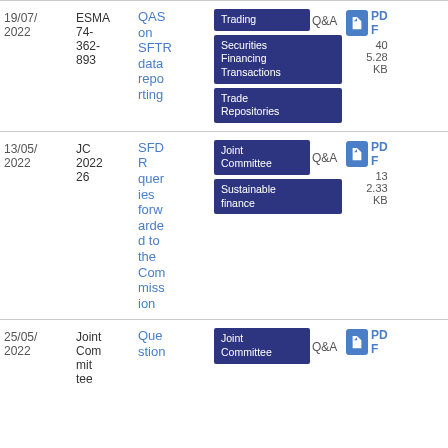| Date | Reference | Title | Tags | Type | Download |
| --- | --- | --- | --- | --- | --- |
| 19/07/2022 | ESMA 74-362-893 | QAS on SFTR data reporting | Trading | Securities Financing Transactions | Trade Repositories | Q&A | PDF 40 5.28 KB |
| 13/05/2022 | JC 2022 26 | SFDR queries forwarded to the Commission | Joint Committee | Sustainable finance | Q&A | PDF 13 2.33 KB |
| 25/05/2022 | Joint Committee | Question... | Joint Committee | Q&A | PDF |